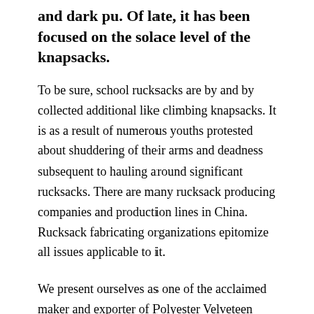and dark pu. Of late, it has been focused on the solace level of the knapsacks.
To be sure, school rucksacks are by and by collected additional like climbing knapsacks. It is as a result of numerous youths protested about shuddering of their arms and deadness subsequent to hauling around significant rucksacks. There are many rucksack producing companies and production lines in China. Rucksack fabricating organizations epitomize all issues applicable to it.
We present ourselves as one of the acclaimed maker and exporter of Polyester Velveteen Fabric with delicate hand feel. Can be Used for… We are viewed as a long-